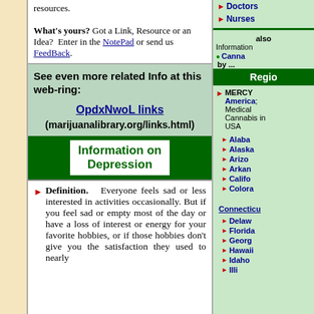resources.
What's yours? Got a Link, Resource or an Idea? Enter in the NotePad or send us FeedBack.
See even more related Info at this web-ring:
OpdxNwoL links (marijuanalibrary.org/links.html)
Information on Depression
Definition. Everyone feels sad or less interested in activities occasionally. But if you feel sad or empty most of the day or have a loss of interest or energy for your favorite hobbies, or if those hobbies don't give you the satisfaction they used to nearly
Doctors
Nurses
also Information
Canna...
by ...
Regio...
MERCY America; Medical Cannabis in USA
Alaba...
Alaska
Arizo...
Arkan...
Califo...
Colora...
Connecticu...
Delaw...
Florida
Georg...
Hawaii
Idaho
Illi...